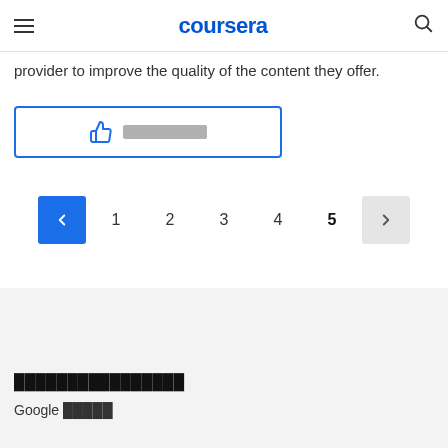coursera
provider to improve the quality of the content they offer.
[Figure (screenshot): Thumbs up button with redacted label text, outlined in blue]
[Figure (screenshot): Pagination controls showing left arrow (blue), numbers 1 2 3 4 5 (5 is bold), and right arrow (grey)]
████████████████
Google █████